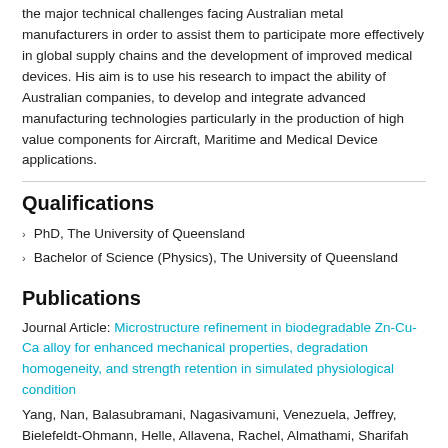the major technical challenges facing Australian metal manufacturers in order to assist them to participate more effectively in global supply chains and the development of improved medical devices. His aim is to use his research to impact the ability of Australian companies, to develop and integrate advanced manufacturing technologies particularly in the production of high value components for Aircraft, Maritime and Medical Device applications.
Qualifications
PhD, The University of Queensland
Bachelor of Science (Physics), The University of Queensland
Publications
Journal Article: Microstructure refinement in biodegradable Zn-Cu-Ca alloy for enhanced mechanical properties, degradation homogeneity, and strength retention in simulated physiological condition
Yang, Nan, Balasubramani, Nagasivamuni, Venezuela, Jeffrey, Bielefeldt-Ohmann, Helle, Allavena, Rachel, Almathami, Sharifah and Dargusch,